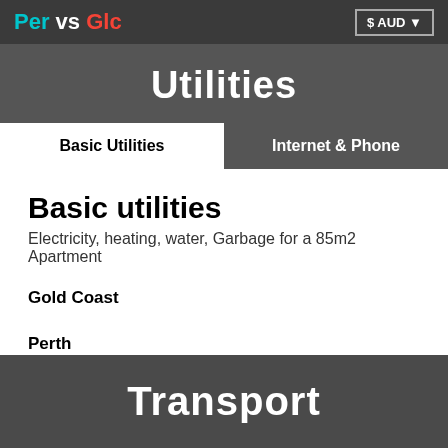Per vs Glc   $ AUD
Utilities
Basic Utilities
Internet & Phone
Basic utilities
Electricity, heating, water, Garbage for a 85m2 Apartment
Gold Coast
Perth
Transport